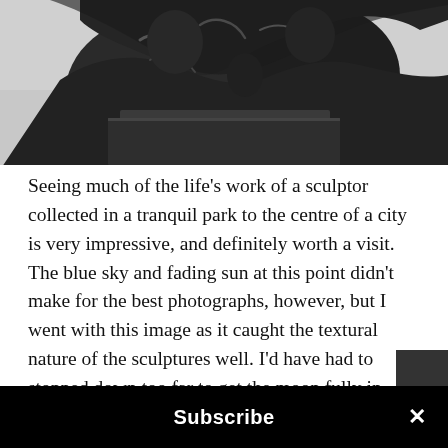[Figure (photo): Black and white photograph of bronze sculptor figures with interlocked/wrapped human forms on a pedestal, against a light grey sky background. Close-up showing textural detail of the sculpture.]
Seeing much of the life's work of a sculptor collected in a tranquil park to the centre of a city is very impressive, and definitely worth a visit. The blue sky and fading sun at this point didn't make for the best photographs, however, but I went with this image as it caught the textural nature of the sculptures well. I'd have had to stopped down too far to get the moon fully in focus as well, and risked compromising the crisp focus on the sculpture.
Subscribe ×